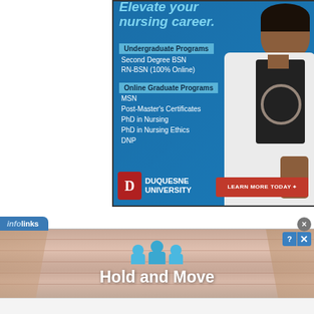[Figure (illustration): Duquesne University nursing program advertisement. Blue background with text listing undergraduate and graduate nursing programs. Nurse in white coat on right side. Logo and 'Learn More Today' button at bottom.]
Elevate your nursing career.
Undergraduate Programs: Second Degree BSN, RN-BSN (100% Online)
Online Graduate Programs: MSN, Post-Master's Certificates, PhD in Nursing, PhD in Nursing Ethics, DNP
DUQUESNE UNIVERSITY — LEARN MORE TODAY
[Figure (screenshot): Infolinks banner ad showing 'Hold and Move' text with blue person icons over a wooden background. Has close (X) button and question mark button.]